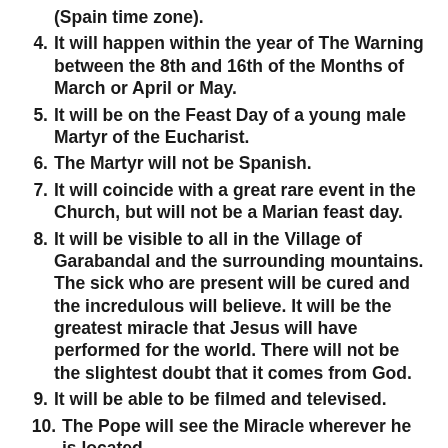(Spain time zone).
4. It will happen within the year of The Warning between the 8th and 16th of the Months of March or April or May.
5. It will be on the Feast Day of a young male Martyr of the Eucharist.
6. The Martyr will not be Spanish.
7. It will coincide with a great rare event in the Church, but will not be a Marian feast day.
8. It will be visible to all in the Village of Garabandal and the surrounding mountains. The sick who are present will be cured and the incredulous will believe. It will be the greatest miracle that Jesus will have performed for the world. There will not be the slightest doubt that it comes from God.
9. It will be able to be filmed and televised.
10. The Pope will see the Miracle wherever he is located.
11. It will last for about 15 minutes, and after that, an